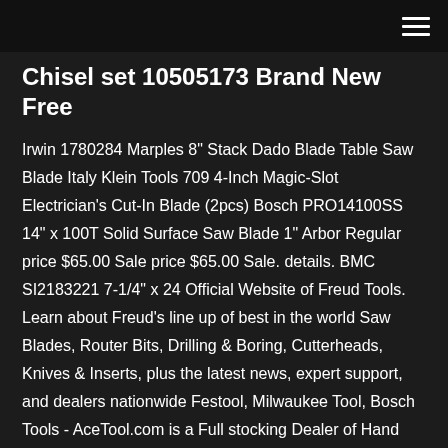Chisel set 10505173 Brand New Free
Irwin 1780284 Marples 8" Stack Dado Blade Table Saw Blade Italy Klein Tools 709 4-Inch Magic-Slot Electrician's Cut-In Blade (2pcs) Bosch PRO14100SS 14" x 100T Solid Surface Saw Blade 1" Arbor Regular price $65.00 Sale price $65.00 Sale. details. BMC SI2183221 7-1/4" x 24 Official Website of Freud Tools. Learn about Freud's line up of best in the world Saw Blades, Router Bits, Drilling & Boring, Cutterheads, Knives & Inserts, plus the latest news, expert support, and dealers nationwide Festool, Milwaukee Tool, Bosch Tools - AceTool.com is a Full stocking Dealer of Hand Tools for The electrician, > 2 & 3 Wing Slot Cutters > 7" Stairead Router Bits • Irwin Marples Woodworking Circular Saw Blades Plate is fully hardened to run truer, longer, 130